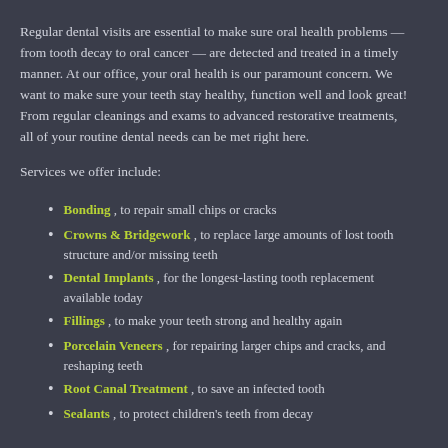Regular dental visits are essential to make sure oral health problems — from tooth decay to oral cancer — are detected and treated in a timely manner. At our office, your oral health is our paramount concern. We want to make sure your teeth stay healthy, function well and look great! From regular cleanings and exams to advanced restorative treatments, all of your routine dental needs can be met right here.
Services we offer include:
Bonding , to repair small chips or cracks
Crowns & Bridgework , to replace large amounts of lost tooth structure and/or missing teeth
Dental Implants , for the longest-lasting tooth replacement available today
Fillings , to make your teeth strong and healthy again
Porcelain Veneers , for repairing larger chips and cracks, and reshaping teeth
Root Canal Treatment , to save an infected tooth
Sealants , to protect children's teeth from decay